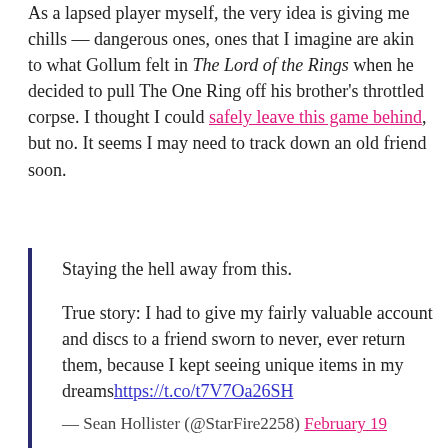As a lapsed player myself, the very idea is giving me chills — dangerous ones, ones that I imagine are akin to what Gollum felt in The Lord of the Rings when he decided to pull The One Ring off his brother's throttled corpse. I thought I could safely leave this game behind, but no. It seems I may need to track down an old friend soon.
Staying the hell away from this.

True story: I had to give my fairly valuable account and discs to a friend sworn to never, ever return them, because I kept seeing unique items in my dreamshttps://t.co/t7V7Oa26SH

— Sean Hollister (@StarFire2258) February 19...